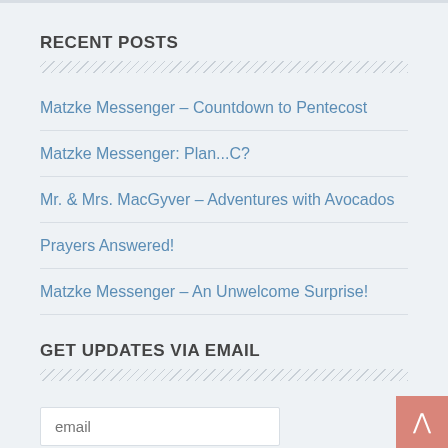RECENT POSTS
Matzke Messenger – Countdown to Pentecost
Matzke Messenger: Plan...C?
Mr. & Mrs. MacGyver – Adventures with Avocados
Prayers Answered!
Matzke Messenger – An Unwelcome Surprise!
GET UPDATES VIA EMAIL
email